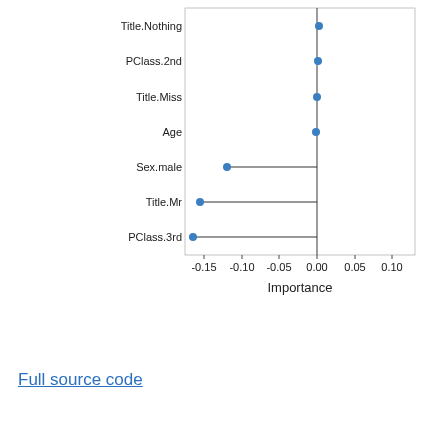[Figure (scatter-plot): ]
Full source code